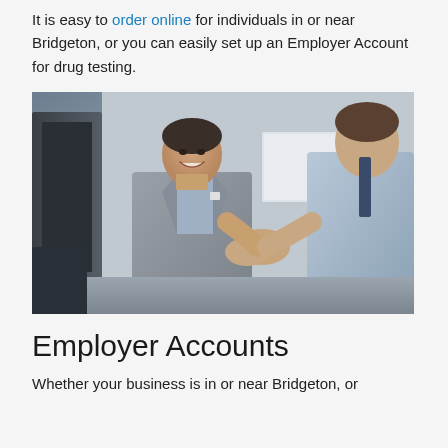It is easy to order online for individuals in or near Bridgeton, or you can easily set up an Employer Account for drug testing.
[Figure (photo): Two business professionals shaking hands and smiling in an office environment. One man faces the camera wearing a grey suit and blue shirt; the other is seen from behind wearing a light blue shirt.]
Employer Accounts
Whether your business is in or near Bridgeton, or